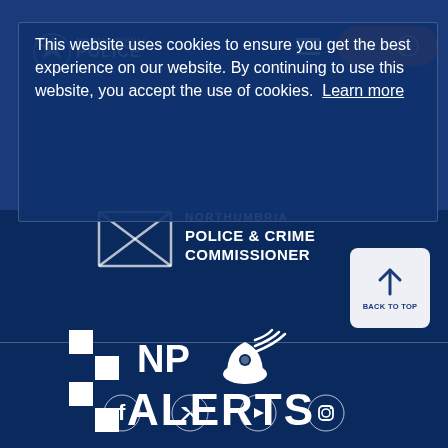[Figure (screenshot): Northumbria Police website header with navigation bar, hamburger menu, and orange SPEAK button]
This website uses cookies to ensure you get the best experience on our website. By continuing to use this website, you accept the use of cookies. Learn more
[Figure (logo): Northumbria Police & Crime Commissioner logo with envelope graphic]
[Figure (logo): NP Alerts logo with checkered pattern and police helmet with signal waves]
[Figure (other): Back to top button with upward arrow]
[Figure (other): Social media icons row: Facebook, Twitter, YouTube, Instagram]